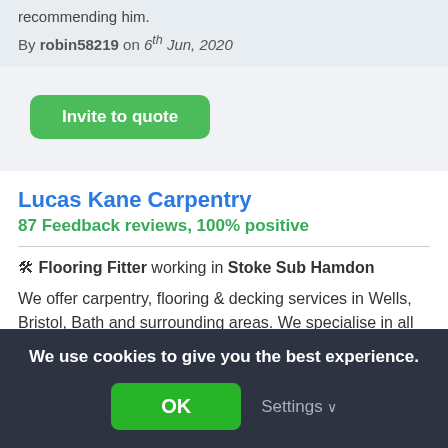recommending him.
By robin58219 on 6th Jun, 2020
Invite to quote
Lucas Kane Carpentry
87 Feedback reviews, 100% positive
🔧 Flooring Fitter working in Stoke Sub Hamdon
We offer carpentry, flooring & decking services in Wells, Bristol, Bath and surrounding areas. We specialise in all aspects of structural and finished flooring and conservation historic works. With extensive...
We use cookies to give you the best experience.
OK
Settings